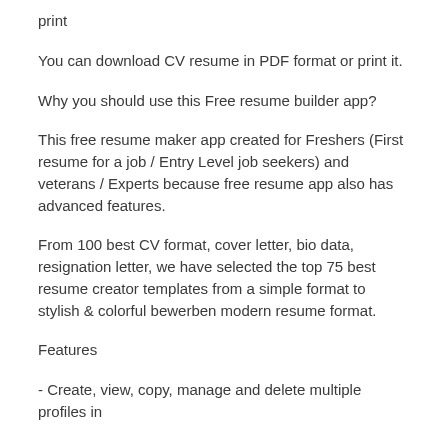print
You can download CV resume in PDF format or print it.
Why you should use this Free resume builder app?
This free resume maker app created for Freshers (First resume for a job / Entry Level job seekers) and veterans / Experts because free resume app also has advanced features.
From 100 best CV format, cover letter, bio data, resignation letter, we have selected the top 75 best resume creator templates from a simple format to stylish & colorful bewerben modern resume format.
Features
- Create, view, copy, manage and delete multiple profiles in